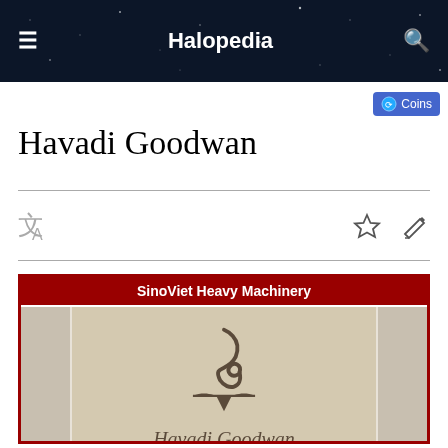Halopedia
Havadi Goodwan
[Figure (screenshot): SinoViet Heavy Machinery infobox with logo image showing a stylized lamp/genie icon and cursive 'Havadi Goodwan' text on aged parchment background]
SinoViet Heavy Machinery